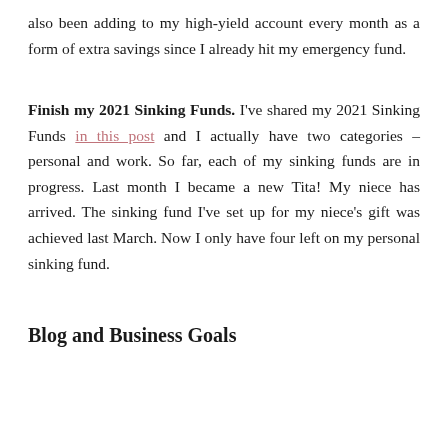also been adding to my high-yield account every month as a form of extra savings since I already hit my emergency fund.
Finish my 2021 Sinking Funds. I've shared my 2021 Sinking Funds in this post and I actually have two categories – personal and work. So far, each of my sinking funds are in progress. Last month I became a new Tita! My niece has arrived. The sinking fund I've set up for my niece's gift was achieved last March. Now I only have four left on my personal sinking fund.
Blog and Business Goals